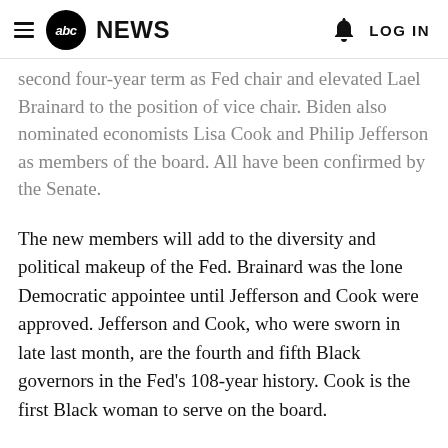abc NEWS  LOG IN
second four-year term as Fed chair and elevated Lael Brainard to the position of vice chair. Biden also nominated economists Lisa Cook and Philip Jefferson as members of the board. All have been confirmed by the Senate.
The new members will add to the diversity and political makeup of the Fed. Brainard was the lone Democratic appointee until Jefferson and Cook were approved. Jefferson and Cook, who were sworn in late last month, are the fourth and fifth Black governors in the Fed's 108-year history. Cook is the first Black woman to serve on the board.